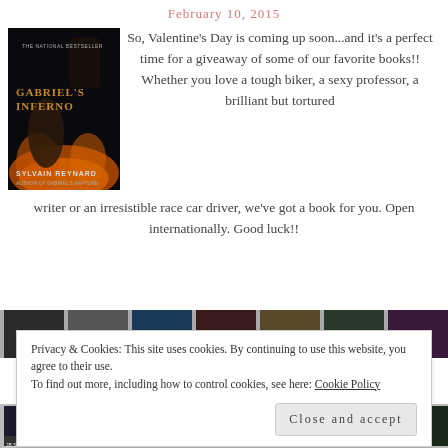February 10, 2015
[Figure (photo): Book cover of Gabriel's Inferno by Sylvain Reynard, showing a dark romantic scene with figures and flames]
So, Valentine's Day is coming up soon...and it's a perfect time for a giveaway of some of our favorite books!! Whether you love a tough biker, a sexy professor, a brilliant but tortured writer or an irresistible race car driver, we've got a book for you. Open internationally. Good luck!!
[Figure (photo): Partial strip of book covers along the bottom of the page]
Privacy & Cookies: This site uses cookies. By continuing to use this website, you agree to their use.
To find out more, including how to control cookies, see here: Cookie Policy
Close and accept